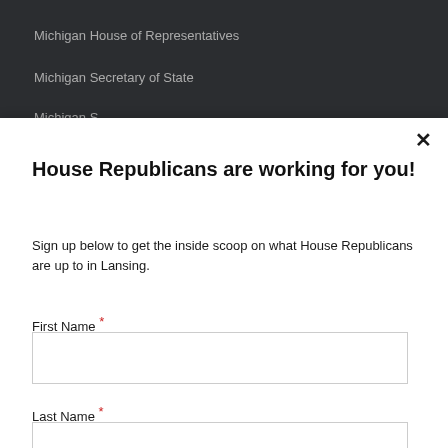Michigan House of Representatives
Michigan Secretary of State
Michigan S...
House Republicans are working for you!
Sign up below to get the inside scoop on what House Republicans are up to in Lansing.
First Name *
Last Name *